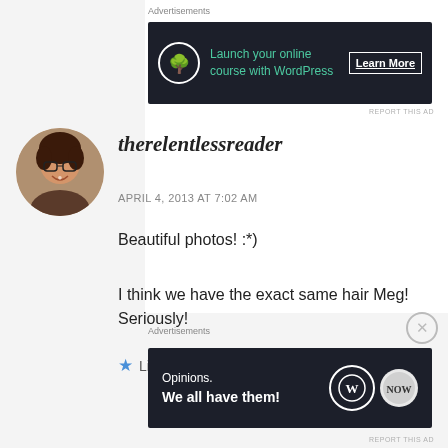Advertisements
[Figure (screenshot): Dark advertisement banner: 'Launch your online course with WordPress' with Learn More button and bonsai tree icon]
REPORT THIS AD
[Figure (photo): Profile photo of a woman with glasses and curly dark hair, smiling]
therelentlessreader
APRIL 4, 2013 AT 7:02 AM
Beautiful photos! :*)
I think we have the exact same hair Meg! Seriously!
Like
Advertisements
[Figure (screenshot): Dark advertisement banner: 'Opinions. We all have them!' with WordPress and another logo]